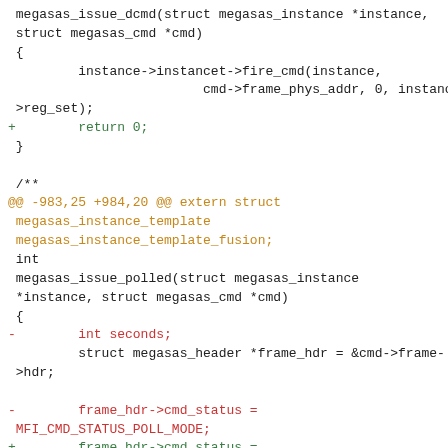Code diff showing megasas_issue_dcmd and megasas_issue_polled function changes in a kernel patch